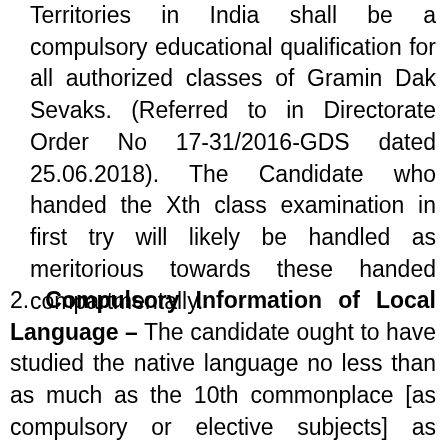Territories in India shall be a compulsory educational qualification for all authorized classes of Gramin Dak Sevaks. (Referred to in Directorate Order No 17-31/2016-GDS dated 25.06.2018). The Candidate who handed the Xth class examination in first try will likely be handled as meritorious towards these handed compartmentally.
2. Compulsory Information of Local Language – The candidate ought to have studied the native language no less than as much as the 10th commonplace [as compulsory or elective subjects] as declared by the State Authorities